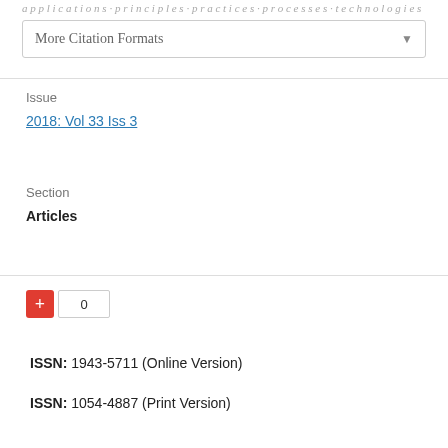More Citation Formats
Issue
2018: Vol 33 Iss 3
Section
Articles
0
ISSN: 1943-5711 (Online Version)
ISSN: 1054-4887 (Print Version)